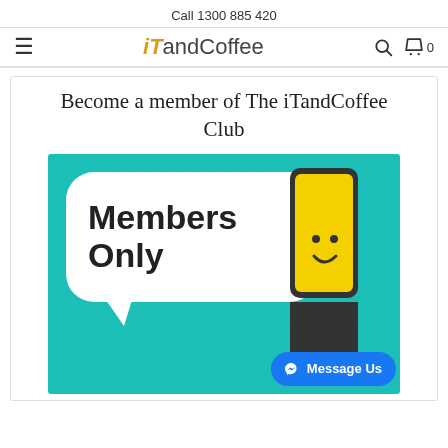Call 1300 885 420
[Figure (logo): iTandCoffee website navigation bar with hamburger menu, logo, search icon, and cart icon showing 0 items]
Become a member of The iTandCoffee Club
[Figure (illustration): Teal background image with a white speech bubble containing bold text 'Members Only', a yellow smartphone with a smiley face, and a blue 'Message Us' button in the bottom right corner]